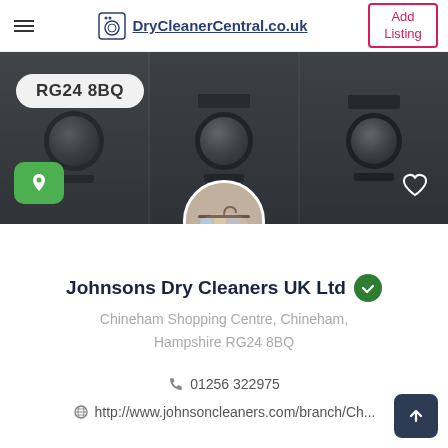DryCleanerCentral.co.uk | Add Listing
[Figure (photo): Hero banner showing industrial washing machines/dryers in black and white. Postcode badge 'RG24 8BQ' top left, green location pin bottom left, heart icon bottom right. Circular profile image of clothes on hangers overlapping bottom edge.]
Johnsons Dry Cleaners UK Ltd
Chineham Shopping Centre, Chineham, Hampshire RG24 8BQ
01256 322975
http://www.johnsoncleaners.com/branch/Ch...